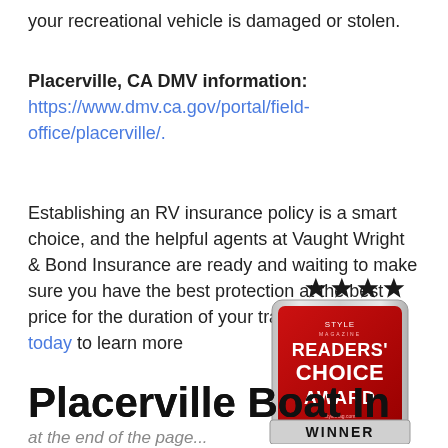your recreational vehicle is damaged or stolen.
Placerville, CA DMV information:
https://www.dmv.ca.gov/portal/field-office/placerville/.
Establishing an RV insurance policy is a smart choice, and the helpful agents at Vaught Wright & Bond Insurance are ready and waiting to make sure you have the best protection at the best price for the duration of your travels. Contact us today to learn more
[Figure (illustration): Style Magazine Readers' Choice Award Winner badge with four black stars above it]
Placerville Boat Insurance
at the end of the page (partial)